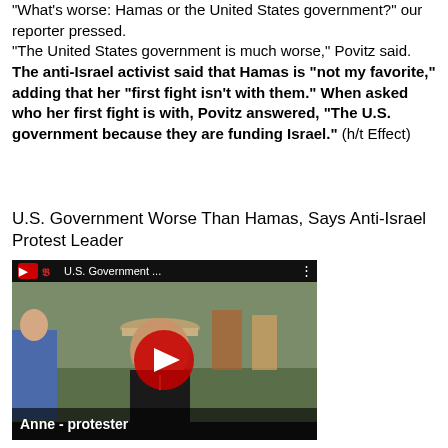"What's worse: Hamas or the United States government?" our reporter pressed.
"The United States government is much worse," Povitz said.
The anti-Israel activist said that Hamas is "not my favorite," adding that her "first fight isn't with them." When asked who her first fight is with, Povitz answered, "The U.S. government because they are funding Israel." (h/t Effect)
U.S. Government Worse Than Hamas, Says Anti-Israel Protest Leader
[Figure (screenshot): YouTube video thumbnail showing a woman wearing a hat at an outdoor protest, with YouTube play button overlay. Video title 'U.S. Government...' shown in top bar with YouTube-style logo. Lower-left caption reads 'Anne - protester'.]